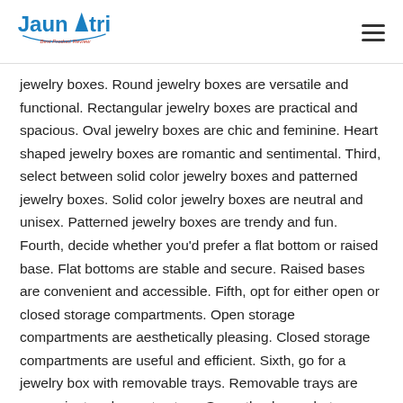Jaunatri Best Product Review
jewelry boxes. Round jewelry boxes are versatile and functional. Rectangular jewelry boxes are practical and spacious. Oval jewelry boxes are chic and feminine. Heart shaped jewelry boxes are romantic and sentimental. Third, select between solid color jewelry boxes and patterned jewelry boxes. Solid color jewelry boxes are neutral and unisex. Patterned jewelry boxes are trendy and fun. Fourth, decide whether you'd prefer a flat bottom or raised base. Flat bottoms are stable and secure. Raised bases are convenient and accessible. Fifth, opt for either open or closed storage compartments. Open storage compartments are aesthetically pleasing. Closed storage compartments are useful and efficient. Sixth, go for a jewelry box with removable trays. Removable trays are convenient and easy to store. Seventh, choose between